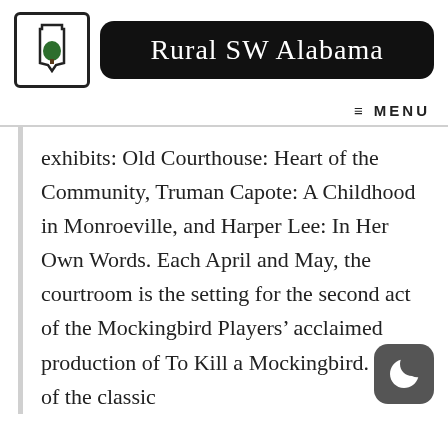[Figure (logo): Rural SW Alabama website logo: black square with Alabama state shape outline and a green tree, next to a black rounded banner reading 'Rural SW Alabama' in cursive script]
≡ MENU
exhibits: Old Courthouse: Heart of the Community, Truman Capote: A Childhood in Monroeville, and Harper Lee: In Her Own Words. Each April and May, the courtroom is the setting for the second act of the Mockingbird Players' acclaimed production of To Kill a Mockingbird. Fans of the classic